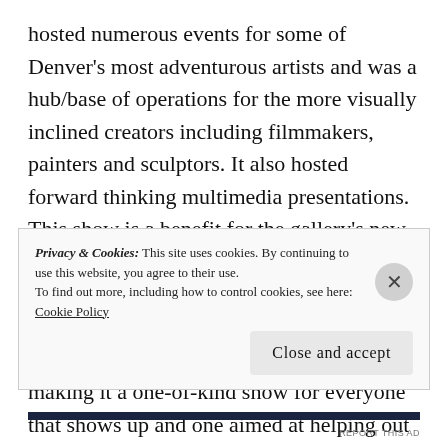hosted numerous events for some of Denver's most adventurous artists and was a hub/base of operations for the more visually inclined creators including filmmakers, painters and sculptors. It also hosted forward thinking multimedia presentations. This show is a benefit for the gallery's new space. Performing is genre-bending electronic pop band Pan Astral who will be joined on stage by Luke Miller of Lotus and Johnny 5 and Brer Rabbit of Flobots making it a one-of-kind show for everyone that shows up and one aimed at helping out one of Denver's true independent art
Privacy & Cookies: This site uses cookies. By continuing to use this website, you agree to their use. To find out more, including how to control cookies, see here: Cookie Policy
Close and accept